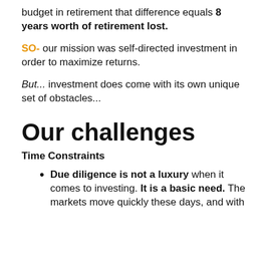budget in retirement that difference equals 8 years worth of retirement lost.
SO- our mission was self-directed investment in order to maximize returns.
But... investment does come with its own unique set of obstacles...
Our challenges
Time Constraints
Due diligence is not a luxury when it comes to investing. It is a basic need. The markets move quickly these days, and with